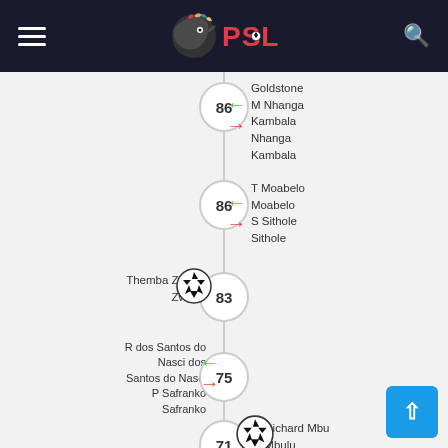[Figure (logo): PSL (Premier Soccer League) logo with colorful horse head and red PSL text on dark header bar]
86 — Substitution right: Goldstone M Nhanga Kambala / Nhanga Kambala
86 — Substitution right: T Moabelo Moabelo / S Sithole Sithole
83 — Goal left: Themba Zwane / Zwane
75 — Substitution left: R dos Santos do Nasci dos Santos do Nasci / P Safranko Safranko
71 — Goal right: Richard Mbu Mbulu